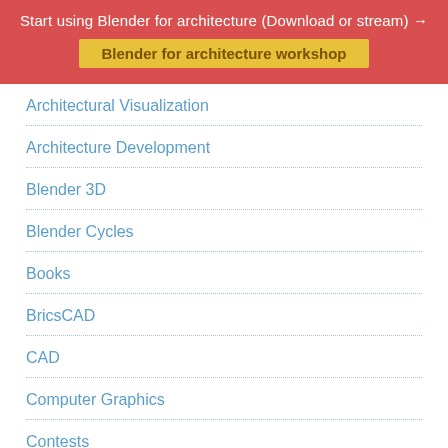Start using Blender for architecture (Download or stream) →
Blender for architecture workshop
Architectural Visualization
Architecture Development
Blender 3D
Blender Cycles
Books
BricsCAD
CAD
Computer Graphics
Contests
Corona Render